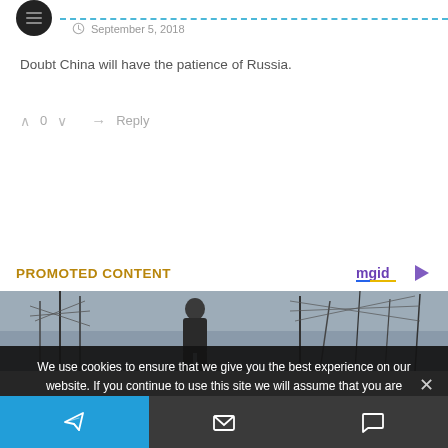September 5, 2018
Doubt China will have the patience of Russia.
^ 0 v  → Reply
PROMOTED CONTENT
[Figure (photo): Photo of a man standing in front of industrial towers/masts against a cloudy sky]
We use cookies to ensure that we give you the best experience on our website. If you continue to use this site we will assume that you are happy with it.
Telegram icon | Email icon | Comment icon